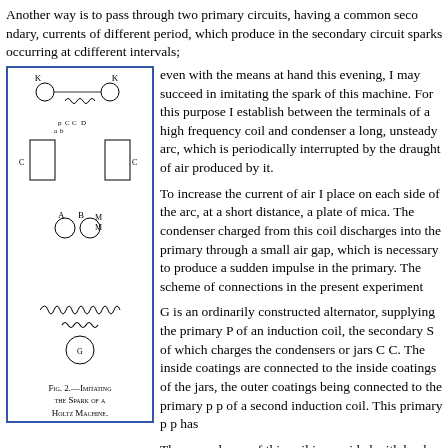Another way is to pass through two primary circuits, having a common secondary, currents of different period, which produce in the secondary circuit sparks occurring at different intervals; even with the means at hand this evening, I may succeed in imitating the spark of a Holtz machine. For this purpose I establish between the terminals of a high frequency coil and condenser a long, unsteady arc, which is periodically interrupted by the draught of air produced by it.
[Figure (engineering-diagram): Circuit diagram showing a Holtz machine imitation setup with components labeled K K (knobs/spheres at top), A B (terminals), C (condenser/jars), p p (primary coil), s (secondary), G (alternator), and coils with spark gap. Components connected by wires with two induction coils shown.]
Fig. 2.—Imitating the Spark of a Holtz Machine.
To increase the current of air I place on each side of the arc, at a short distance, a plate of mica. The condenser charged from this coil discharges into the primary, discharging through a small air gap, which is necessary to produce a sudden impulse in the primary. The scheme of connections in the present experiment is as follows:
G is an ordinarily constructed alternator, supplying the primary P of an induction coil, the secondary S of which charges the condensers or jars C C. The inside coatings of the jars are connected to the inside coatings of the jars, the outer coatings being connected together to the primary p p of a second induction coil. This primary p p has a spark gap a b.
The secondary s of this coil is provided with knobs or spheres K K, which are separated a distance suitable for the experiment.
A long arc is established between the terminals A B of the first coil, between two mica plates.
Each time the arc is broken between A and B the jars are quickly charged and discharge through p, producing a snapping spark between the knobs K K. Upon the arc forming again the E. M. F. falls, and the jars cannot be charged to such high potential as to break through the gap a b till the arc is again broken by the draught.
In this manner sudden impulses, at long intervals, are produced in the primary p p, and these give a corresponding number of impulses of great intensity. If the secondary coil...